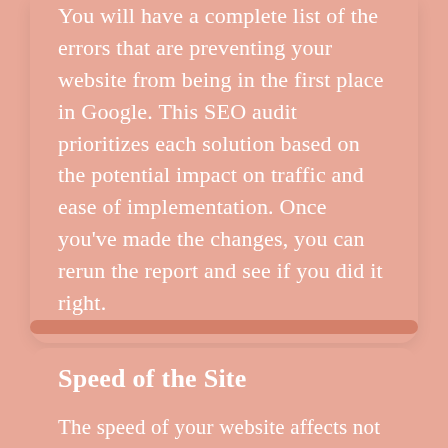You will have a complete list of the errors that are preventing your website from being in the first place in Google. This SEO audit prioritizes each solution based on the potential impact on traffic and ease of implementation. Once you've made the changes, you can rerun the report and see if you did it right.
Speed of the Site
The speed of your website affects not only your conversion rate but also the ranking of your site in search engines. If your site takes...